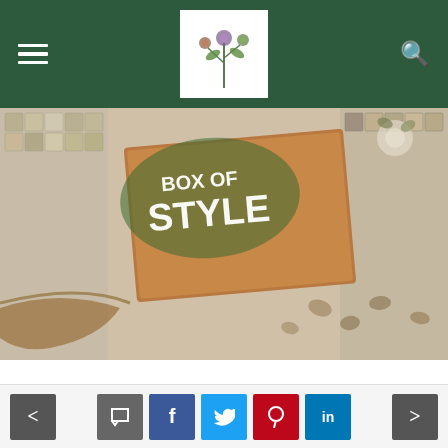Navigation bar with hamburger menu, logo, and search icon
[Figure (photo): A bronze/copper colored card with 'BOX OF STYLE' text in white, placed on a patterned surface with flowers and leopard print fabric]
Handbags have always been a weakness of mine. My handbag collection practically needs a closet of its own. I love for my accessories to make a statement – they're the equivalency of a supporting actress stealing the spotlight! That is why I am enamored with the handbags at Jules Kae. Their handbags make a statement with a variety of color palettes and designs that always match up to the latest trends for each season. This light beige Jules Kae Vegan Leather
< | comment | f | Twitter | Pinterest | LinkedIn | >